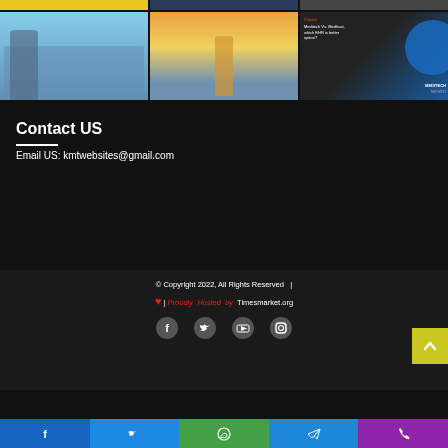[Figure (photo): Grid of 6 thumbnail images: top row partially visible (yellow/geometric, city night, watch), bottom row (dental/medical, beach girl, Meditech vs Medhost comparison graphic)]
Contact US
Email US: kmtwebsites@gmail.com
© Copyright 2022, All Rights Reserved  |  ❤ | Proudly Hosted by Timesmarket.org
[Figure (infographic): Social media icons: Facebook, Twitter, YouTube, Instagram]
[Figure (infographic): Bottom bar with social share buttons: Facebook (blue), Twitter (blue), WhatsApp (green), Telegram (blue), Phone (purple)]